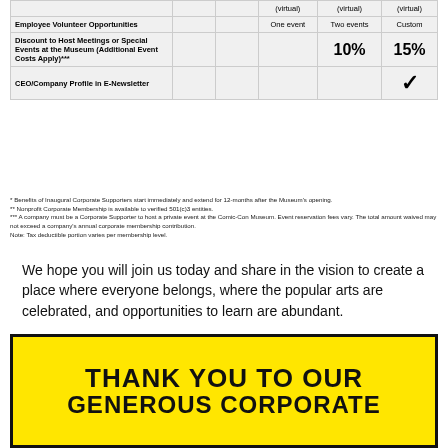|  |  |  | (virtual) | (virtual) | (virtual) |
| --- | --- | --- | --- | --- | --- |
| Employee Volunteer Opportunities |  |  | One event | Two events | Custom |
| Discount to Host Meetings or Special Events at the Museum (Additional Event Costs Apply)*** |  |  |  | 10% | 15% |
| CEO/Company Profile in E-Newsletter |  |  |  |  | ✓ |
* Benefits of Inaugural Corporate Supporters start immediately and extend for 12-months after the Museum's opening.
** Nonprofit Corporate Membership is available to verified 501(c)3 entities.
*** A company must be a Corporate Supporter to host a private event at the Comic-Con Museum. Event reservation fees vary. The total amount waived may not exceed a company's annual corporate membership contribution.
Note: Tax deductible portion varies per membership level.
We hope you will join us today and share in the vision to create a place where everyone belongs, where the popular arts are celebrated, and opportunities to learn are abundant.
To become a Corporate Supporter and for more information or questions, please contact ccmimpact@comic-con.org.
THANK YOU TO OUR GENEROUS CORPORATE